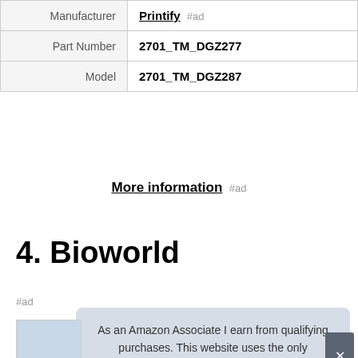|  |  |
| --- | --- |
| Manufacturer | Printify #ad |
| Part Number | 2701_TM_DGZ277 |
| Model | 2701_TM_DGZ287 |
More information #ad
4. Bioworld
#ad
As an Amazon Associate I earn from qualifying purchases. This website uses the only necessary cookies to ensure you get the best experience on our website. More information